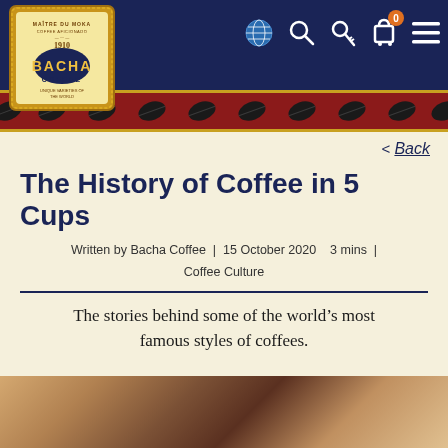[Figure (screenshot): Bacha Coffee website header/navbar with logo, globe icon, search icon, key icon, bag icon with orange badge showing 0, and hamburger menu icon on dark navy background]
[Figure (illustration): Decorative red stripe with repeating gold-outlined coffee bean shapes across the full width]
< Back
The History of Coffee in 5 Cups
Written by Bacha Coffee | 15 October 2020  3 mins | Coffee Culture
The stories behind some of the world’s most famous styles of coffees.
[Figure (photo): Bottom portion of a photograph showing warm brown/tan tones, partially visible, likely coffee-related]